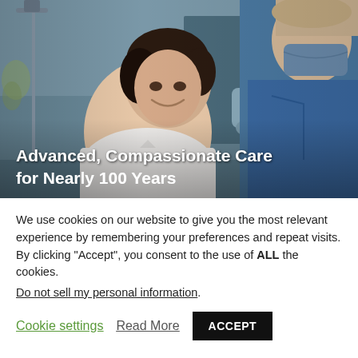[Figure (photo): Hospital scene showing a smiling female patient in a white top sitting in a medical room, with a masked nurse or healthcare worker in blue scrubs visible on the right. Medical equipment visible in the background. Overlaid text reads: Advanced, Compassionate Care for Nearly 100 Years.]
Advanced, Compassionate Care for Nearly 100 Years
We use cookies on our website to give you the most relevant experience by remembering your preferences and repeat visits. By clicking “Accept”, you consent to the use of ALL the cookies.
Do not sell my personal information.
Cookie settings  Read More  ACCEPT